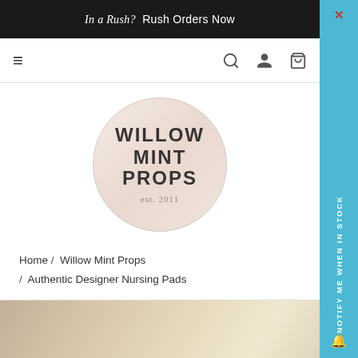In a Rush? Rush Orders Now
[Figure (logo): Willow Mint Props circular logo with text WILLOW MINT PROPS EST. 2011]
Home / Willow Mint Props / Authentic Designer Nursing Pads
[Figure (photo): Product photo - partial view of nursing pads, beige/warm tones]